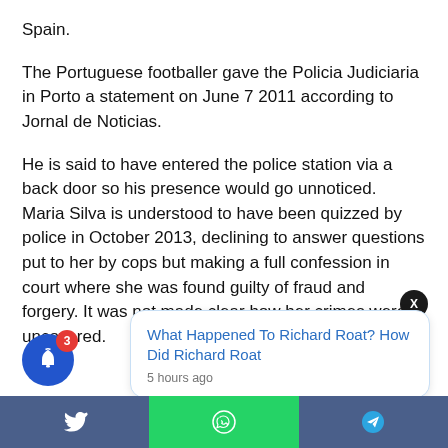Spain.
The Portuguese footballer gave the Policia Judiciaria in Porto a statement on June 7 2011 according to Jornal de Noticias.
He is said to have entered the police station via a back door so his presence would go unnoticed. Maria Silva is understood to have been quizzed by police in October 2013, declining to answer questions put to her by cops but making a full confession in court where she was found guilty of fraud and forgery. It was not made clear how her crimes were uncovered.
[Figure (screenshot): Notification popup showing link 'What Happened To Richard Roat? How Did Richard Roat' with timestamp '5 hours ago', a close button (X), a blue bell notification button with badge showing 3, and a social sharing bar with Twitter, WhatsApp, and Telegram icons.]